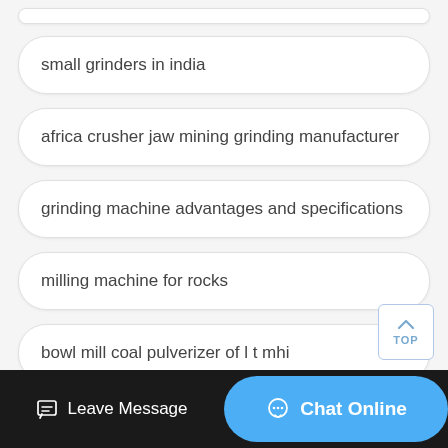small grinders in india
africa crusher jaw mining grinding manufacturer
grinding machine advantages and specifications
milling machine for rocks
bowl mill coal pulverizer of l t mhi
maze grinder machine
Leave Message   Chat Online